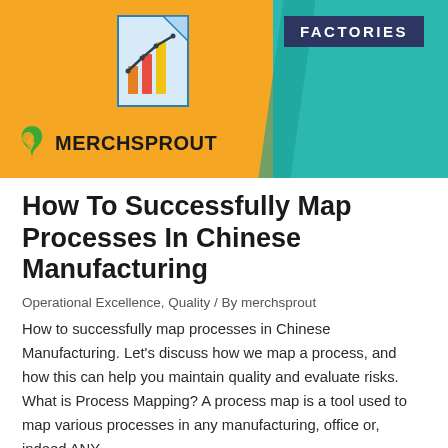[Figure (illustration): MerchSprout banner with orange background, teal section on right, chart icon in center, FACTORIES label on dark blue background, MerchSprout logo with leaf icon at bottom left]
How To Successfully Map Processes In Chinese Manufacturing
Operational Excellence, Quality / By merchsprout
How to successfully map processes in Chinese Manufacturing. Let's discuss how we map a process, and how this can help you maintain quality and evaluate risks. What is Process Mapping? A process map is a tool used to map various processes in any manufacturing, office or, indeed ANY